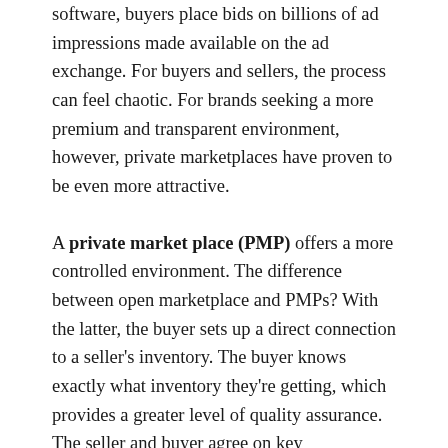software, buyers place bids on billions of ad impressions made available on the ad exchange. For buyers and sellers, the process can feel chaotic. For brands seeking a more premium and transparent environment, however, private marketplaces have proven to be even more attractive.
A private market place (PMP) offers a more controlled environment. The difference between open marketplace and PMPs? With the latter, the buyer sets up a direct connection to a seller's inventory. The buyer knows exactly what inventory they're getting, which provides a greater level of quality assurance. The seller and buyer agree on key performance indices (KPIs) and targeting specs, working together to optimize for performance and scale. A PMP brings full transparency to buyers, greater publisher control, and more premium inventory at scale.